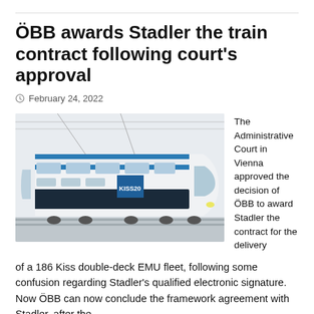ÖBB awards Stadler the train contract following court's approval
February 24, 2022
[Figure (photo): Photo of a Stadler KISS double-deck EMU train in white and blue livery with 'KISS200' branding on the side, on a grey background.]
The Administrative Court in Vienna approved the decision of ÖBB to award Stadler the contract for the delivery of a 186 Kiss double-deck EMU fleet, following some confusion regarding Stadler's qualified electronic signature. Now ÖBB can now conclude the framework agreement with Stadler, after the